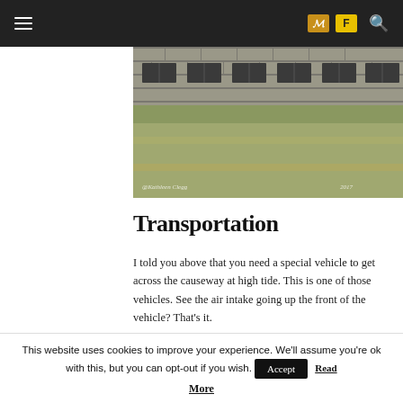[Figure (photo): Photograph of a stone wall structure with dark window slots and grassy ground, watermarked with '@Kathleen Clegg' and a date]
Transportation
I told you above that you need a special vehicle to get across the causeway at high tide. This is one of those vehicles. See the air intake going up the front of the vehicle? That's it.
[Figure (photo): Partial photograph of a building with a blue roof, light gray sky background]
This website uses cookies to improve your experience. We'll assume you're ok with this, but you can opt-out if you wish. Accept Read More